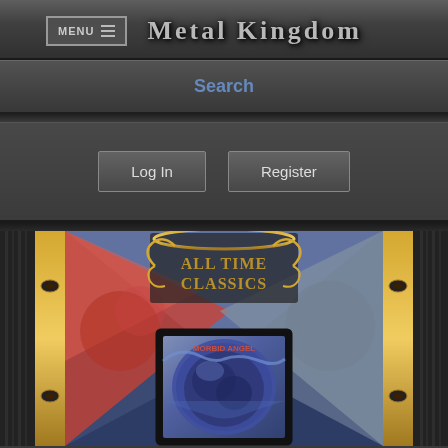MENU  Metal Kingdom
Search
Log In   Register
[Figure (photo): Metal Kingdom merchandise photo showing an 'All Time Classics' ornate gold-framed album/box set with a heavy metal woven patch featuring a dark blue spherical skull/creature artwork on top of illustrated album art]